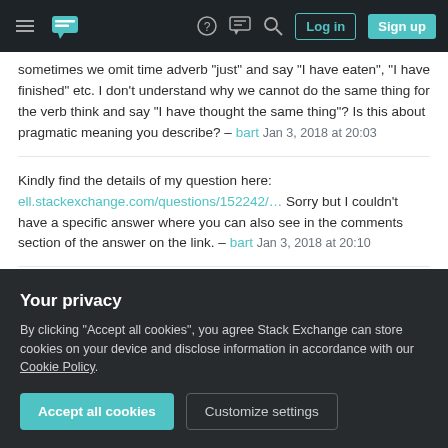Stack Exchange navigation bar with hamburger menu, logo, help, chat, search, Log in, Sign up buttons
sometimes we omit time adverb "just" and say "I have eaten", "I have finished" etc. I don't understand why we cannot do the same thing for the verb think and say "I have thought the same thing"? Is this about pragmatic meaning you describe? – bart Jan 3, 2018 at 20:03
Kindly find the details of my question here: ell.stackexchange.com/questions/152242/... Sorry but I couldn't have a specific answer where you can also see in the comments section of the answer on the link. – bart Jan 3, 2018 at 20:10
"But what 'requires' the past perfect there and forbids a simple past is not the time sequence but the
Your privacy
By clicking "Accept all cookies", you agree Stack Exchange can store cookies on your device and disclose information in accordance with our Cookie Policy.